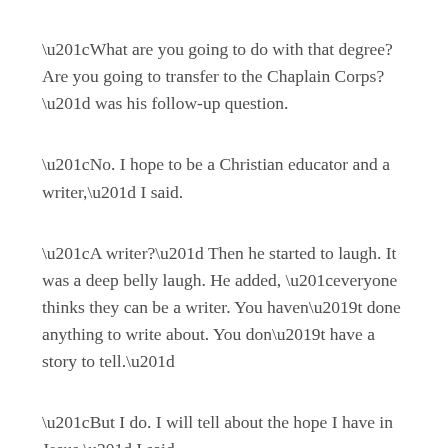“What are you going to do with that degree? Are you going to transfer to the Chaplain Corps?” was his follow-up question.
“No. I hope to be a Christian educator and a writer,” I said.
“A writer?” Then he started to laugh. It was a deep belly laugh. He added, “everyone thinks they can be a writer. You haven’t done anything to write about. You don’t have a story to tell.”
“But I do. I will tell about the hope I have in Jesus,” I said.